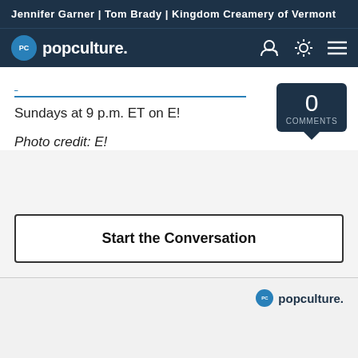Jennifer Garner | Tom Brady | Kingdom Creamery of Vermont
[Figure (logo): PopCulture.com logo with navigation icons and 0 comments bubble]
Sundays at 9 p.m. ET on E!
Photo credit: E!
Start the Conversation
popculture.